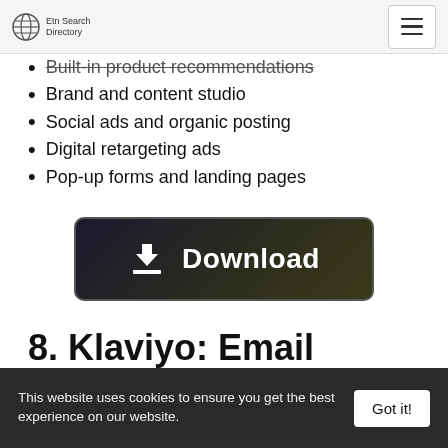Etn Search Directory
Built-in product recommendations
Brand and content studio
Social ads and organic posting
Digital retargeting ads
Pop-up forms and landing pages
[Figure (other): Download button with download icon and bold white 'Download' text on dark gradient background]
8. Klaviyo: Email Marketing & SMS
This website uses cookies to ensure you get the best experience on our website.